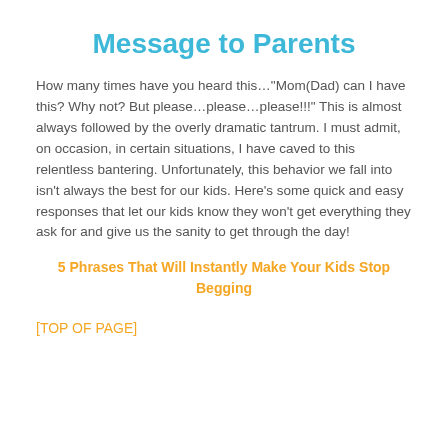Message to Parents
How many times have you heard this…"Mom(Dad) can I have this?  Why not?  But please…please…please!!!"  This is almost always followed by the overly dramatic tantrum.  I must admit, on occasion, in certain situations, I have caved to this relentless bantering.  Unfortunately, this behavior we fall into isn't always the best for our kids.  Here's some quick and easy responses that let our kids know they won't get everything they ask for and give us the sanity to get through the day!
5 Phrases That Will Instantly Make Your Kids Stop Begging
[TOP OF PAGE]